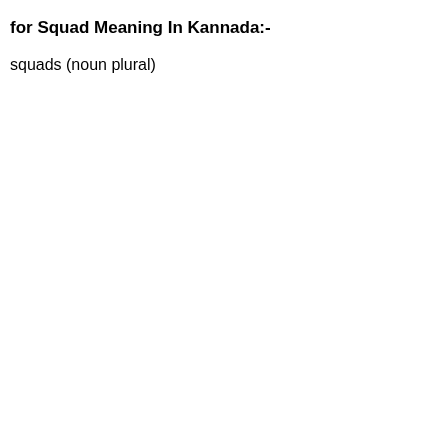for Squad Meaning In Kannada:-
squads (noun plural)